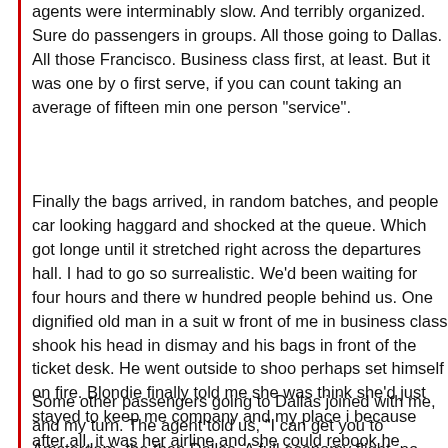agents were interminably slow. And terribly organized. Sure do passengers in groups. All those going to Dallas. All those Francisco. Business class first, at least. But it was one by o first serve, if you can count taking an average of fifteen min one person "service".
Finally the bags arrived, in random batches, and people car looking haggard and shocked at the queue. Which got longe until it stretched right across the departures hall. I had to go so surrealistic. We'd been waiting for four hours and there w hundred people behind us. One dignified old man in a suit w front of me in business class shook his head in dismay and his bags in front of the ticket desk. He went outside to shoo perhaps set himself on fire. Blondie finally told me she was think she'd just stayed to keep me company and my place i because after all, it was her airline and she could rebook he
Some other passengers going to Dallas joined with me, and my turn. The agent told us, "I can get you to Amsterdam, the then Dallas. A full economy flight, no business class, arrivin